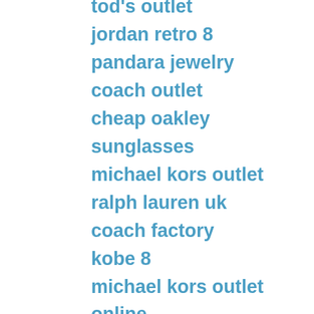tod's outlet
jordan retro 8
pandara jewelry
coach outlet
cheap oakley sunglasses
michael kors outlet
ralph lauren uk
coach factory
kobe 8
michael kors outlet online
gucci handbags
timberland outlet
christian louboutin
lv handbags
white timberland boots
burberry sale
coco chanel
louis vuitton outlet
ralph lauren uk
louis vuitton
christian louboutin outlet
louis vuitton outlet
coach outlet online